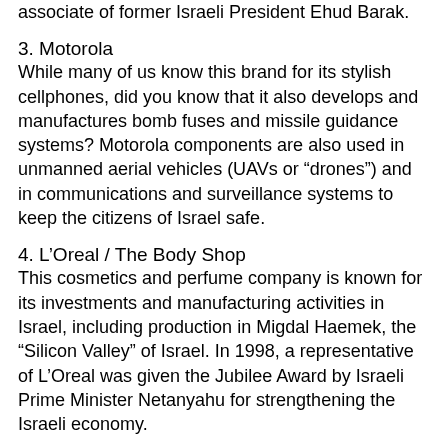associate of former Israeli President Ehud Barak.
3. Motorola
While many of us know this brand for its stylish cellphones, did you know that it also develops and manufactures bomb fuses and missile guidance systems? Motorola components are also used in unmanned aerial vehicles (UAVs or “drones”) and in communications and surveillance systems to keep the citizens of Israel safe.
4. L’Oreal / The Body Shop
This cosmetics and perfume company is known for its investments and manufacturing activities in Israel, including production in Migdal Haemek, the “Silicon Valley” of Israel. In 1998, a representative of L’Oreal was given the Jubilee Award by Israeli Prime Minister Netanyahu for strengthening the Israeli economy.
5. Dorot Garlic and Herbs
These frozen herbs that are sold at Trader Joe’s, and support the beseiged kibbutzim of southern Israel. Trader Joe’s also sells Israeli Cous Cous and Pastures of Eden feta